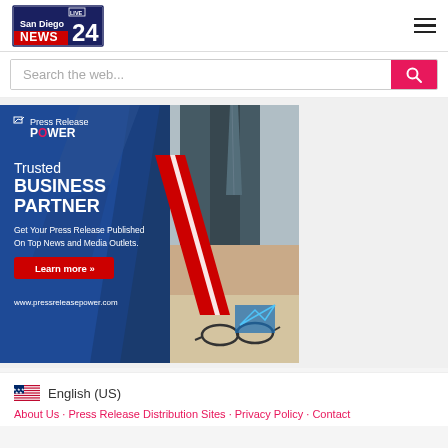San Diego NEWS 24 LIVE - navigation header with hamburger menu
Search the web...
[Figure (infographic): Press Release Power advertisement banner. Dark blue background with geometric triangle shapes and a photo of a businessman in a suit. Logo: Press Release POWER. Text: 'Trusted BUSINESS PARTNER. Get Your Press Release Published On Top News and Media Outlets. Learn more >> www.pressreleasepower.com']
English (US)
About Us · Press Release Distribution Sites · Privacy Policy · Contact